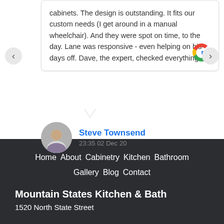cabinets. The design is outstanding. It fits our custom needs (I get around in a manual wheelchair). And they were spot on time, to the day. Lane was responsive - even helping on his days off. Dave, the expert, checked everything
Steve Townsend
23:35 02 Dec 20
Home  About  Cabinetry  Kitchen  Bathroom  Gallery  Blog  Contact
Mountain States Kitchen & Bath
1520 North State Street